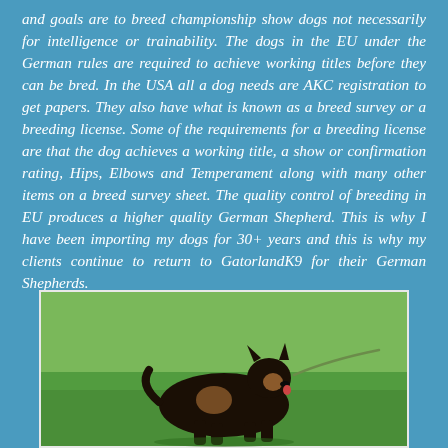and goals are to breed championship show dogs not necessarily for intelligence or trainability. The dogs in the EU under the German rules are required to achieve working titles before they can be bred. In the USA all a dog needs are AKC registration to get papers. They also have what is known as a breed survey or a breeding license. Some of the requirements for a breeding license are that the dog achieves a working title, a show or confirmation rating, Hips, Elbows and Temperament along with many other items on a breed survey sheet. The quality control of breeding in EU produces a higher quality German Shepherd. This is why I have been importing my dogs for 30+ years and this is why my clients continue to return to GatorlandK9 for their German Shepherds.
[Figure (photo): A German Shepherd dog on a leash, sitting on green grass outdoors.]